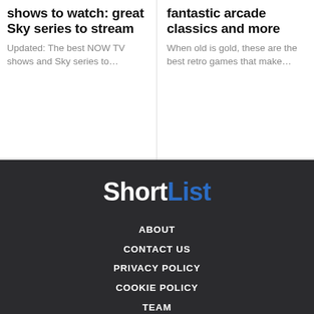shows to watch: great Sky series to stream
Updated: The best NOW TV shows and Sky series to…
fantastic arcade classics and more
When old is gold, these are the best retro games that make…
[Figure (logo): ShortList logo with 'Short' in white and 'List' in blue on dark background]
ABOUT
CONTACT US
PRIVACY POLICY
COOKIE POLICY
TEAM
WORK WITH US
ARCHIVE
PRIVACY MANAGER